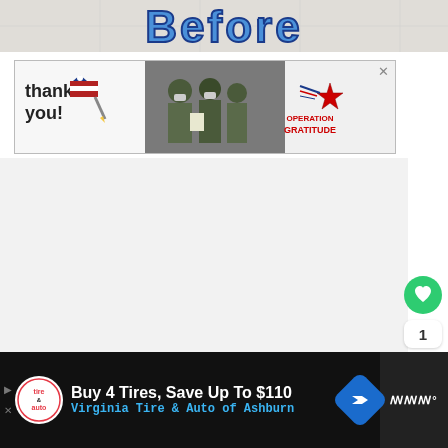[Figure (photo): Top portion of an image showing the word 'Before' in blue bold stylized text on a light gray/tile background]
[Figure (photo): Advertisement banner for Operation Gratitude showing 'Thank you!' text with flag pencil graphic, military personnel photo, and Operation Gratitude logo with red/blue star and text]
[Figure (screenshot): Main content area (mostly blank/white) with social UI elements: a green heart/like button, count of 1, and share button on the right side. A 'WHAT'S NEXT' panel in lower right showing 'The Best Type of Errands' with thumbnail.]
[Figure (photo): Bottom advertisement bar on dark background: 'Buy 4 Tires, Save Up To $110 / Virginia Tire & Auto of Ashburn' with tire logo and navigation arrow icon. Right side shows weather widget area.]